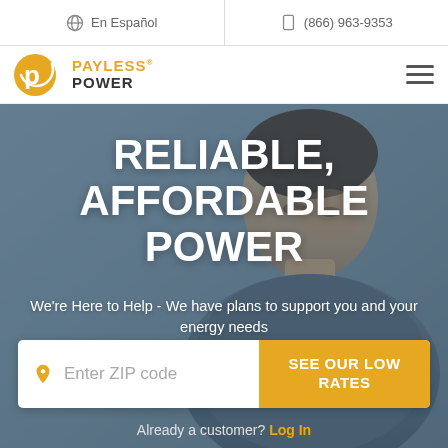En Español | (866) 963-9353
[Figure (logo): Payless Power logo — circular P icon in gold/orange with white text 'PAYLESS POWER' in yellow and white]
RELIABLE, AFFORDABLE POWER
We're Here to Help - We have plans to support you and your energy needs
Enter ZIP code | SEE OUR LOW RATES
Already a customer? Log In